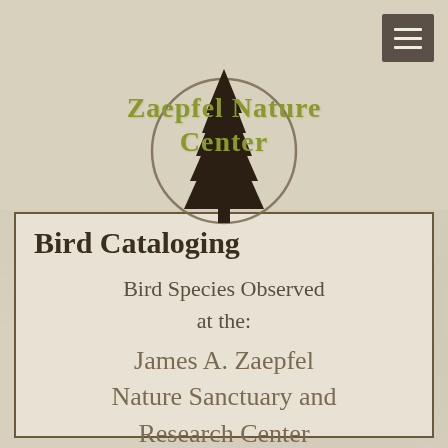[Figure (logo): Zaepfel Nature Center logo: a circular outline with a dark evergreen tree silhouette in the center. The text 'Zaepfel Nature Center' is written in olive/yellow-green serif font overlapping the circle.]
Bird Cataloging
Bird Species Observed at the: James A. Zaepfel Nature Sanctuary and Research Center